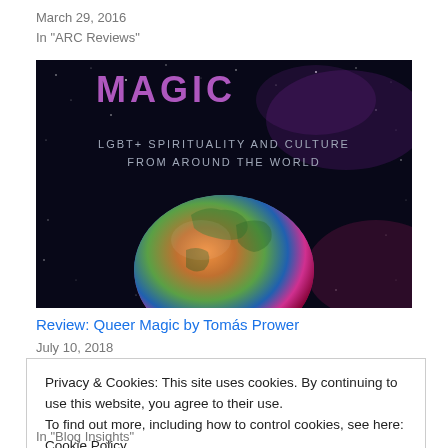March 29, 2016
In "ARC Reviews"
[Figure (photo): Book cover of 'Queer Magic' showing a rainbow-colored globe against a dark starry background with text 'LGBT+ Spirituality and Culture From Around the World' and partial title 'MAGIC' visible at top in purple letters.]
Review: Queer Magic by Tomás Prower
July 10, 2018
Privacy & Cookies: This site uses cookies. By continuing to use this website, you agree to their use.
To find out more, including how to control cookies, see here: Cookie Policy
Close and accept
In "Blog Insights"